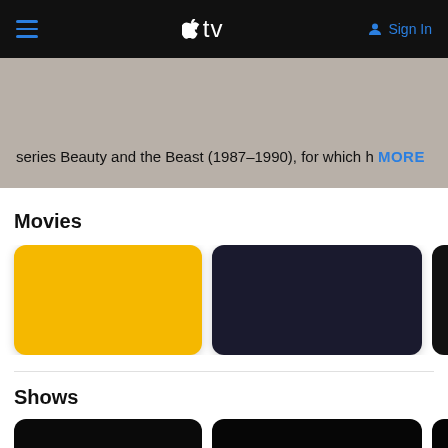Apple TV navigation bar with hamburger menu, Apple TV logo, and Sign In button
series Beauty and the Beast (1987–1990), for which h MORE
Movies
[Figure (other): Yellow movie card thumbnail]
[Figure (other): Dark navy movie card thumbnail]
[Figure (other): Black movie card thumbnail (partially visible)]
Shows
[Figure (other): Black show card thumbnail]
[Figure (other): Very dark show card thumbnail]
[Figure (other): Very dark show card thumbnail (partially visible)]